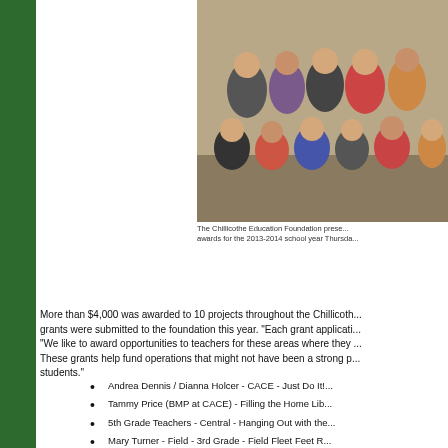[Figure (photo): Group photo of children, appears to be students associated with the Chillicothe Education Foundation grant awards for the 2013-2014 school year.]
The Chillicothe Education Foundation prese... awards for the 2013-2014 school year Thursda...
More than $4,000 was awarded to 10 projects throughout the Chillicoth... grants were submitted to the foundation this year. "Each grant applicati... "We like to award opportunities to teachers for these areas where they ... These grants help fund operations that might not have been a strong p... students."
Andrea Dennis / Dianna Holcer - CACE - Just Do It!...
Tammy Price (BMP at CACE) - Filling the Home Lib...
5th Grade Teachers - Central - Hanging Out with the...
Mary Turner - Field - 3rd Grade - Field Fleet Feet R...
Melissa Eiserer - Field & Dewey - K-2 - Elementary...
3rd Grade Teachers - Field - Teaching for the Future...
Stacy Surber - CHS - The Art of Auschultation - $38...
Sondra Sturguess - GRTS - The Answer in a Flash -...
Sonja Daley - GRTS - The Human Torso - $500
Nancy Burtch, Brandon Dennis, Mike Harrington - G...